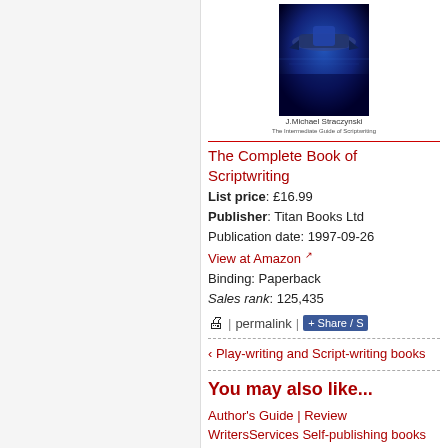[Figure (photo): Book cover of The Complete Book of Scriptwriting by J. Michael Straczynski, with author name below]
The Complete Book of Scriptwriting
List price: £16.99
Publisher: Titan Books Ltd
Publication date: 1997-09-26
View at Amazon
Binding: Paperback
Sales rank: 125,435
permalink | Share / S
‹ Play-writing and Script-writing books
You may also like...
Author's Guide | Review WritersServices Self-publishing books
Writer's Bookstall...